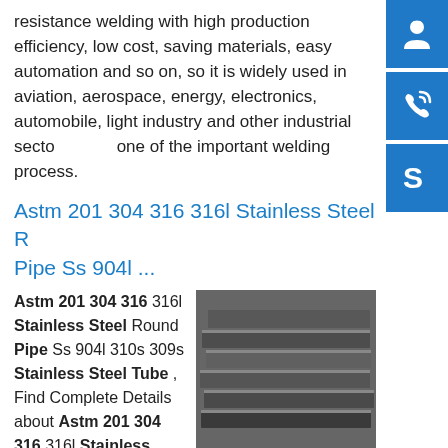resistance welding with high production efficiency, low cost, saving materials, easy automation and so on, so it is widely used in aviation, aerospace, energy, electronics, automobile, light industry and other industrial sectors, one of the important welding process.
Astm 201 304 316 316l Stainless Steel Round Pipe Ss 904l ...
Astm 201 304 316 316l Stainless Steel Round Pipe Ss 904l 310s 309s Stainless Steel Tube , Find Complete Details about Astm 201 304 316 316l Stainless Steel Round Pipe Ss 904l 310s 309s Stainless Steel Tube,309s Stainless Steel Pipe,Stainless Steel Round Pipe,Stainless Steel Tube from Stainless Steel Pipes Supplier or Manufacturer-Tianjin Blueprint Iron And Steel Co., Ltd.sp.info Product
[Figure (photo): Photo of stacked dark steel plates/sheets]